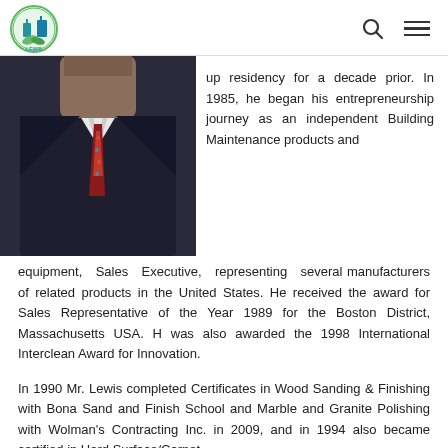LEWIS [logo]
[Figure (photo): A man in a dark suit and patterned tie, photo cropped to show torso and lower face area.]
up residency for a decade prior. In 1985, he began his entrepreneurship journey as an independent Building Maintenance products and equipment, Sales Executive, representing several manufacturers of related products in the United States. He received the award for Sales Representative of the Year 1989 for the Boston District, Massachusetts USA. H was also awarded the 1998 International Interclean Award for Innovation.
In 1990 Mr. Lewis completed Certificates in Wood Sanding & Finishing with Bona Sand and Finish School and Marble and Granite Polishing with Wolman's Contracting Inc. in 2009, and in 1994 also became certified in Hard Surface/Carpet